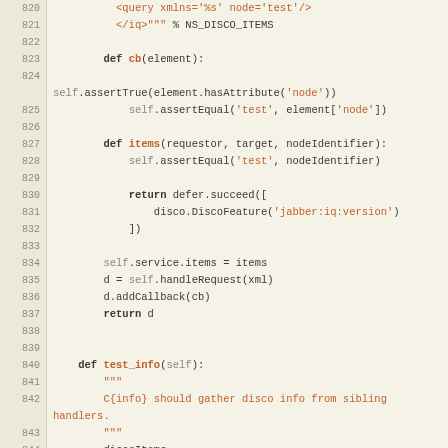[Figure (screenshot): Source code listing showing Python test code for disco service, lines 820-847, with syntax highlighting on a cream/tan background. Line numbers in left column, code content in right column.]